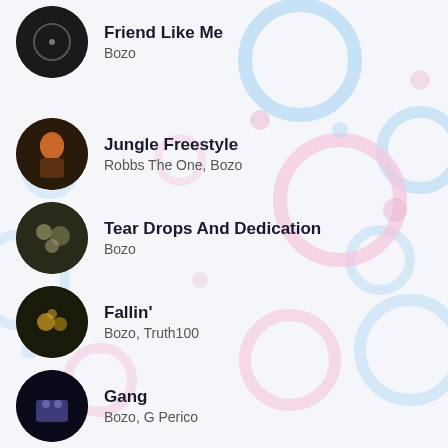Friend Like Me
Bozo
Jungle Freestyle
Robbs The One, Bozo
Tear Drops And Dedication
Bozo
Fallin'
Bozo, Truth100
Gang
Bozo, G Perico
Getn' Rich
Bozo